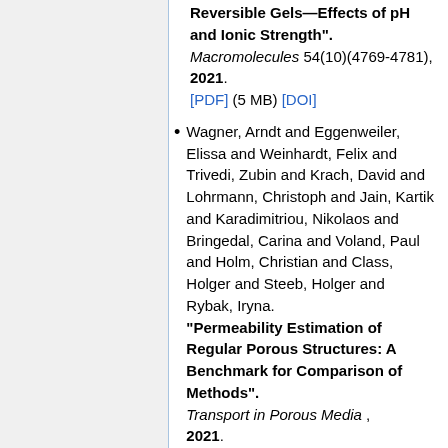"Reversible Gels—Effects of pH and Ionic Strength". Macromolecules 54(10)(4769-4781), 2021. [PDF] (5 MB) [DOI]
Wagner, Arndt and Eggenweiler, Elissa and Weinhardt, Felix and Trivedi, Zubin and Krach, David and Lohrmann, Christoph and Jain, Kartik and Karadimitriou, Nikolaos and Bringedal, Carina and Voland, Paul and Holm, Christian and Class, Holger and Steeb, Holger and Rybak, Iryna. "Permeability Estimation of Regular Porous Structures: A Benchmark for Comparison of Methods". Transport in Porous Media, 2021.